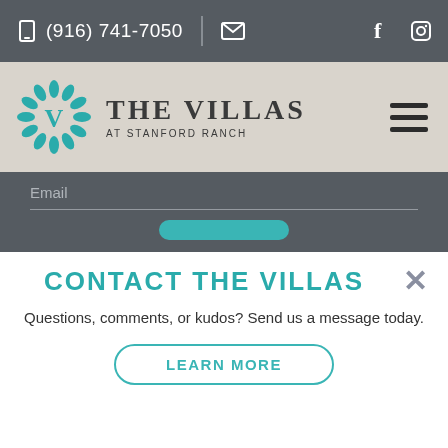(916) 741-7050
[Figure (logo): The Villas at Stanford Ranch logo with teal decorative emblem and text]
Email
CONTACT THE VILLAS
Questions, comments, or kudos? Send us a message today.
LEARN MORE